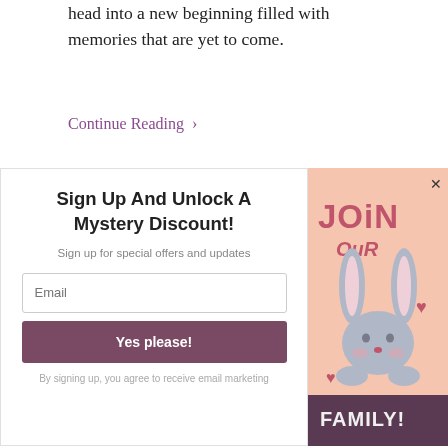head into a new beginning filled with memories that are yet to come.
Continue Reading ›
Sign Up And Unlock A Mystery Discount!
Sign up for special offers and updates
Yes please!
By signing up, you agree to receive email marketing
[Figure (illustration): Promotional graphic with peach background showing a cartoon bunny with text JOIN OUR FAMILY!]